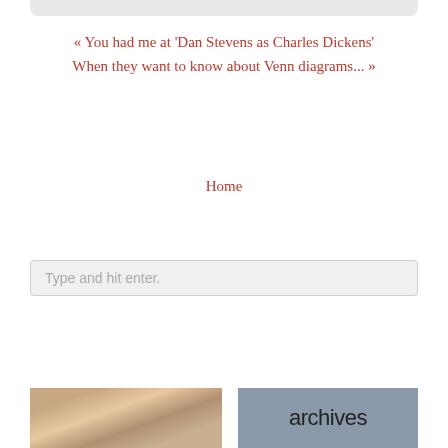« You had me at 'Dan Stevens as Charles Dickens'   When they want to know about Venn diagrams... »
Home
Type and hit enter.
Search this Site
[Figure (photo): Photo of two women, partially visible at bottom left]
archives